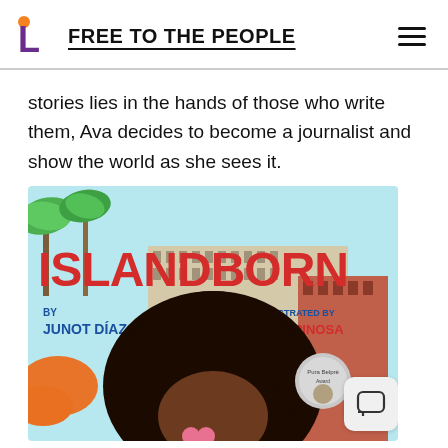FREE TO THE PEOPLE
stories lies in the hands of those who write them, Ava decides to become a journalist and show the world as she sees it.
[Figure (illustration): Book cover of 'Islandborn' by Junot Díaz, illustrated by Leo Espinosa. Features colorful tropical scene with palm trees, buildings, and a child with large dark curly hair in the foreground. Pura Belpré Award medal visible.]